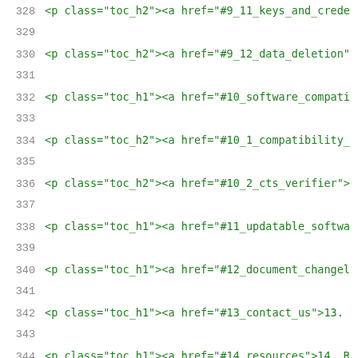328   <p class="toc_h2"><a href="#9_11_keys_and_crede
329
330   <p class="toc_h2"><a href="#9_12_data_deletion"
331
332   <p class="toc_h1"><a href="#10_software_compati
333
334   <p class="toc_h2"><a href="#10_1_compatibility_
335
336   <p class="toc_h2"><a href="#10_2_cts_verifier">
337
338   <p class="toc_h1"><a href="#11_updatable_softwa
339
340   <p class="toc_h1"><a href="#12_document_changel
341
342   <p class="toc_h1"><a href="#13_contact_us">13.
343
344   <p class="toc_h1"><a href="#14_resources">14. R
345
346   </div>
347
348   </div>
349